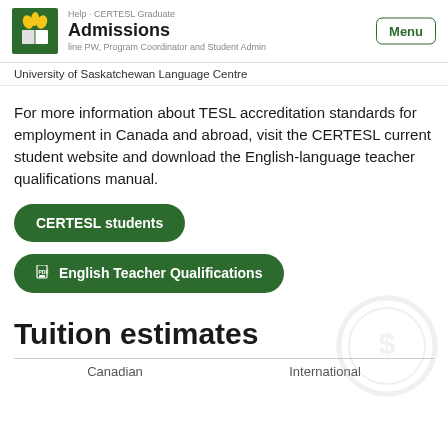Admissions | University of Saskatchewan Language Centre
University of Saskatchewan Language Centre
For more information about TESL accreditation standards for employment in Canada and abroad, visit the CERTESL current student website and download the English-language teacher qualifications manual.
CERTESL students
English Teacher Qualifications
Tuition estimates
Canadian
International